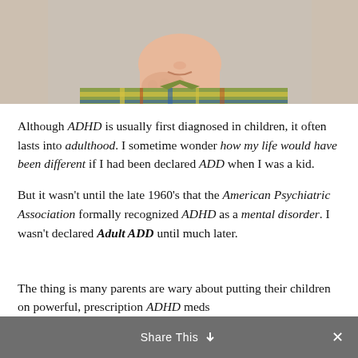[Figure (photo): A young boy in a plaid shirt with hand on chin in a thinking pose, photographed against a light background. Only the lower face and upper body are visible.]
Although ADHD is usually first diagnosed in children, it often lasts into adulthood. I sometime wonder how my life would have been different if I had been declared ADD when I was a kid.
But it wasn't until the late 1960's that the American Psychiatric Association formally recognized ADHD as a mental disorder. I wasn't declared Adult ADD until much later.
The thing is many parents are wary about putting their children on powerful, prescription ADHD meds